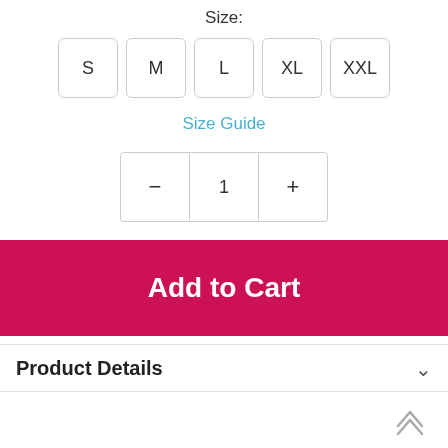Size:
S
M
L
XL
XXL
Size Guide
- 1 +
Add to Cart
Product Details